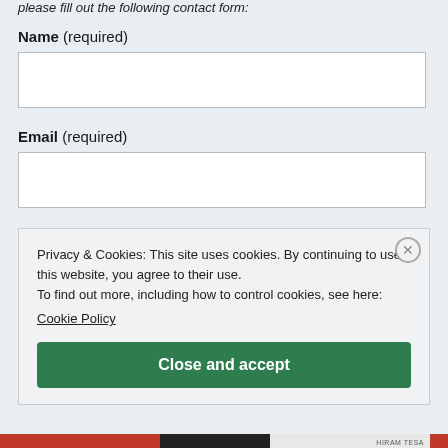please fill out the following contact form:
Name (required)
Email (required)
Privacy & Cookies: This site uses cookies. By continuing to use this website, you agree to their use.
To find out more, including how to control cookies, see here:
Cookie Policy
[Close and accept]